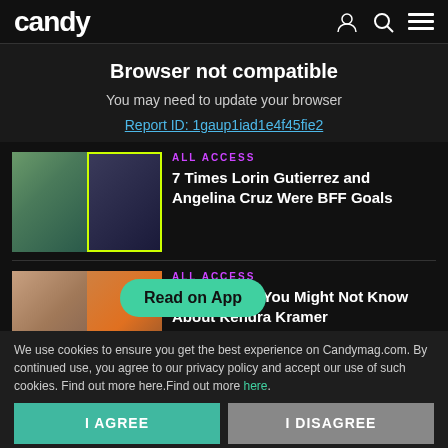candy
Browser not compatible
You may need to update your browser
Report ID: 1gaup1iad1e4f45fie2
[Figure (photo): Two thumbnail photos of women]
ALL ACCESS
7 Times Lorin Gutierrez and Angelina Cruz Were BFF Goals
[Figure (photo): Two thumbnail photos of women]
ALL ACCESS
5 Fast Facts You Might Not Know About Kendra Kramer
Read on App
We use cookies to ensure you get the best experience on Candymag.com. By continued use, you agree to our privacy policy and accept our use of such cookies. Find out more here.Find out more here.
I AGREE
I DISAGREE